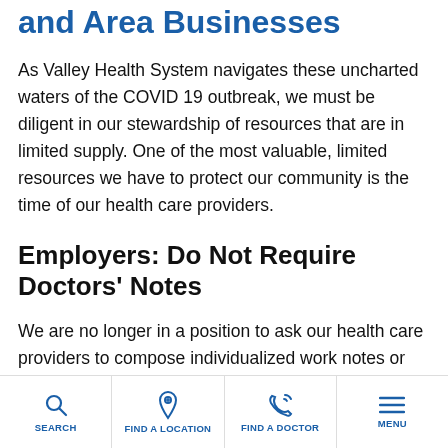and Area Businesses
As Valley Health System navigates these uncharted waters of the COVID 19 outbreak, we must be diligent in our stewardship of resources that are in limited supply. One of the most valuable, limited resources we have to protect our community is the time of our health care providers.
Employers: Do Not Require Doctors' Notes
We are no longer in a position to ask our health care providers to compose individualized work notes or complete medical leave/disability forms addressing
SEARCH | FIND A LOCATION | FIND A DOCTOR | MENU